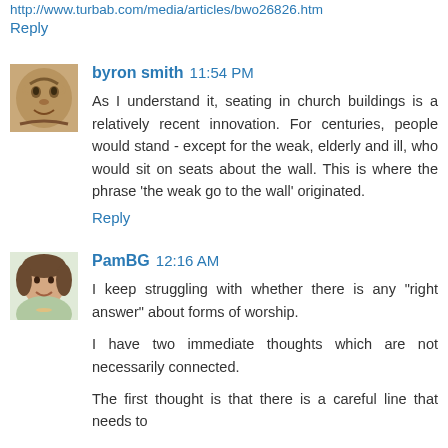http://www.turbab.com/media/articles/bwo26826.htm
Reply
byron smith  11:54 PM
As I understand it, seating in church buildings is a relatively recent innovation. For centuries, people would stand - except for the weak, elderly and ill, who would sit on seats about the wall. This is where the phrase 'the weak go to the wall' originated.
Reply
PamBG  12:16 AM
I keep struggling with whether there is any "right answer" about forms of worship.
I have two immediate thoughts which are not necessarily connected.
The first thought is that there is a careful line that needs to